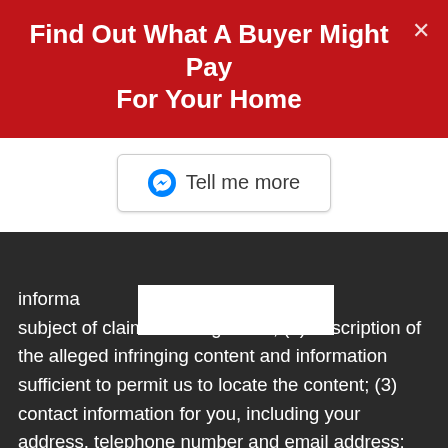Find Out What A Buyer Might Pay For Your Home
[Figure (screenshot): Tell me more button with Messenger icon, white background, inside red modal]
information he subject of claimed infringement; (2) description of the alleged infringing content and information sufficient to permit us to locate the content; (3) contact information for you, including your address, telephone number and email address; (4) a statement by you that you have a good faith belief that the content in the manner complained of is not authorized by the copyright owner, or its agent, or by the operation of any law; (5) a statement by you, signed under penalty of perjury, that the information in the notification is accurate and that you have the authority to enforce the copyrights that are claimed to be infringed; and (6) a physical or electronic signature of the copyright owner or a person authorized to act on the copyright owners behalf. Failure to